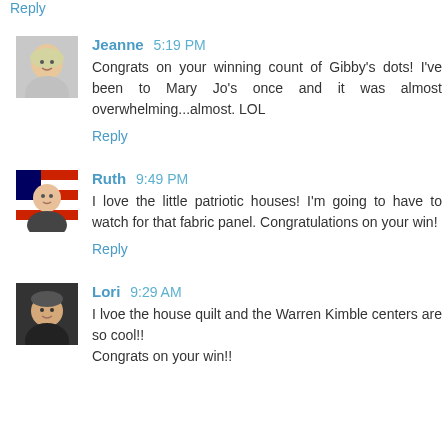Reply
Jeanne 5:19 PM
Congrats on your winning count of Gibby's dots! I've been to Mary Jo's once and it was almost overwhelming...almost. LOL
Reply
Ruth 9:49 PM
I love the little patriotic houses! I'm going to have to watch for that fabric panel. Congratulations on your win!
Reply
Lori 9:29 AM
I lvoe the house quilt and the Warren Kimble centers are so cool!!
Congrats on your win!!